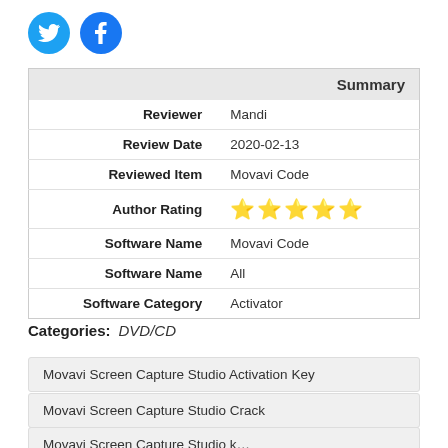[Figure (logo): Twitter and Facebook circular social media icons in blue]
| Summary |  |
| --- | --- |
| Reviewer | Mandi |
| Review Date | 2020-02-13 |
| Reviewed Item | Movavi Code |
| Author Rating | ⭐⭐⭐⭐⭐ |
| Software Name | Movavi Code |
| Software Name | All |
| Software Category | Activator |
Categories: DVD/CD
Movavi Screen Capture Studio Activation Key
Movavi Screen Capture Studio Crack
Movavi Screen Capture Studio...